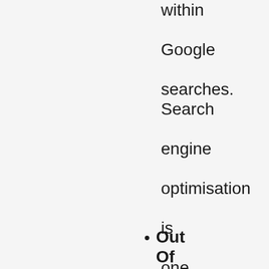within Google searches. Search engine optimisation is one service that every business needs.
Out Of Date